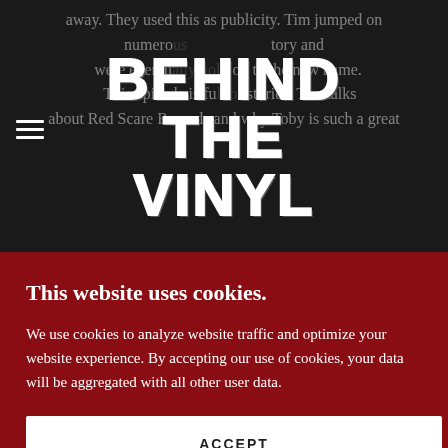[Figure (logo): Behind The Vinyl logo overlaid on dark background with faded article text]
guy. We discussed how the goals have changed over time. They now make music as a want instead of a matter of necessity. We talked about their new songs
This website uses cookies.
We use cookies to analyze website traffic and optimize your website experience. By accepting our use of cookies, your data will be aggregated with all other user data.
ACCEPT